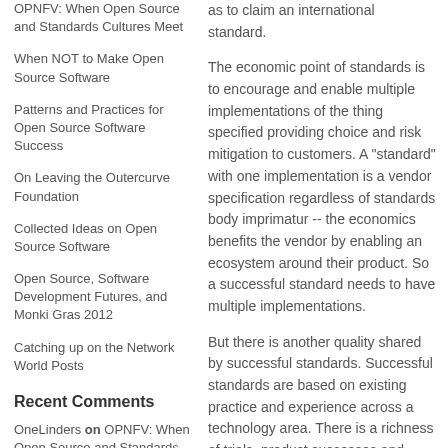OPNFV: When Open Source and Standards Cultures Meet
When NOT to Make Open Source Software
Patterns and Practices for Open Source Software Success
On Leaving the Outercurve Foundation
Collected Ideas on Open Source Software
Open Source, Software Development Futures, and Monki Gras 2012
Catching up on the Network World Posts
Recent Comments
OneLinders on OPNFV: When Open Source and Standards Cultures Meet
Mark Atwood on OPNFV: When Open Source and Standards Cultures Meet
Stephen Walli on Patterns and Practices for Open Source Software Success
as to claim an international standard.
The economic point of standards is to encourage and enable multiple implementations of the thing specified providing choice and risk mitigation to customers.  A "standard" with one implementation is a vendor specification regardless of standards body imprimatur -- the economics benefits the vendor by enabling an ecosystem around their product.  So a successful standard needs to have multiple implementations.
But there is another quality shared by successful standards.  Successful standards are based on existing practice and experience across a technology area.  There is a richness of trials, product successes and failures, over a period of years that feeds into the development of the